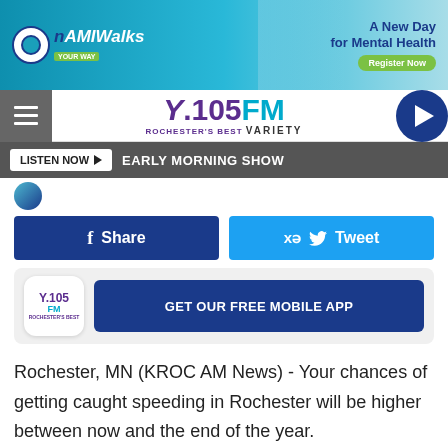[Figure (screenshot): NAMIWalks Your Way advertisement banner - A New Day for Mental Health, Register Now button]
[Figure (logo): Y.105FM Rochester's Best Variety radio station logo with navigation bar]
LISTEN NOW  EARLY MORNING SHOW
[Figure (screenshot): Facebook Share button (dark blue) and Twitter Tweet button (light blue)]
[Figure (screenshot): Y.105FM app icon with GET OUR FREE MOBILE APP button]
Rochester, MN (KROC AM News) -  Your chances of getting caught speeding in Rochester will be higher between now and the end of the year.
[Figure (screenshot): NAMIWalks Your Way advertisement banner - A New Day for Mental Health, Register Now button (bottom)]